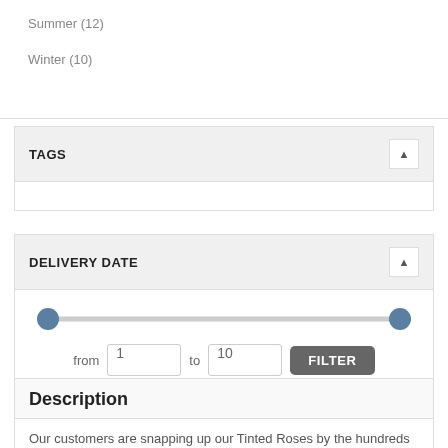Summer (12)
Winter (10)
TAGS
DELIVERY DATE
from 1 to 10 FILTER
Description
Our customers are snapping up our Tinted Roses by the hundreds to add pizzazz to a bouquet, decorate a theme